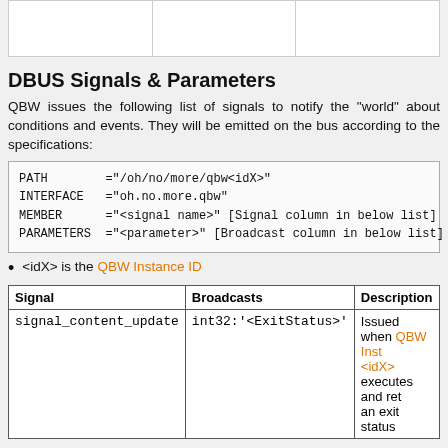|  |  |  |
| --- | --- | --- |
|  |  |  |
DBUS Signals & Parameters
QBW issues the following list of signals to notify the "world" about conditions and events. They will be emitted on the bus according to the specifications:
PATH        ="/oh/no/more/qbw<idX>"
INTERFACE   ="oh.no.more.qbw"
MEMBER      ="<signal name>" [Signal column in below list]
PARAMETERS  ="<parameter>" [Broadcast column in below list]
<idX> is the QBW Instance ID
| Signal | Broadcasts | Description |
| --- | --- | --- |
| signal_content_update | int32:'<ExitStatus>' | Issued when QBW Instance <idX> executes and returns an exit status |
Interacting with QBW from the Shell
This is the template to use for calling the QBW instance methods:
For methods which DO return values: